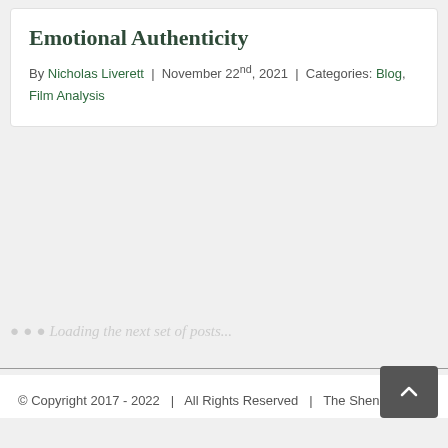Emotional Authenticity
By Nicholas Liverett | November 22nd, 2021 | Categories: Blog, Film Analysis
Loading the next set of posts...
© Copyright 2017 - 2022 | All Rights Reserved | The Shenandoa